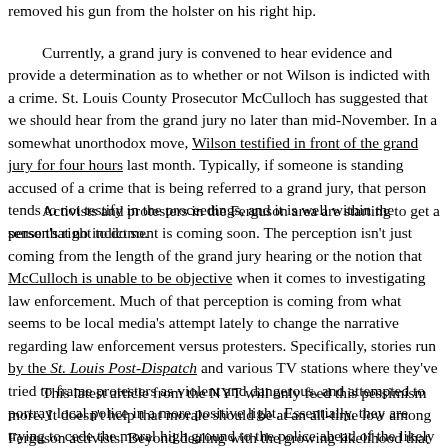removed his gun from the holster on his right hip.
Currently, a grand jury is convened to hear evidence and provide a determination as to whether or not Wilson is indicted with a crime. St. Louis County Prosecutor McCulloch has suggested that we should hear from the grand jury no later than mid-November. In a somewhat unorthodox move, Wilson testified in front of the grand jury for four hours last month. Typically, if someone is standing accused of a crime that is being referred to a grand jury, that person tends to not testify in the proceedings, and it is well within the person's right to do so.
Activists and protesters in the Ferguson area are starting to get a sense that no indictment is coming soon. The perception isn't just coming from the length of the grand jury hearing or the notion that McCulloch is unable to be objective when it comes to investigating law enforcement. Much of that perception is coming from what seems to be local media's attempt lately to change the narrative regarding law enforcement versus protesters. Specifically, stories run by the St. Louis Post-Dispatch and various TV stations where they've tried to frame protesters as violent and dangerous, and attempted to portray local police in a more positive light. Essentially, they are trying to cede the moral high ground to the police ahead of the likely scenario where Wilson is allowed to walk.
This latest article from the NYT will only feed this pessimism more. It doesn't help that morale should be at an all-time low among Ferguson activists. Beyond dealing with the growing likelihood that Wilson will walk, other changes in the area aren't coming either. Ferguson Police Chief Tom Jackson is still on the job. McCulloch has made it clear from the investigation that. The racial climate on the office of the